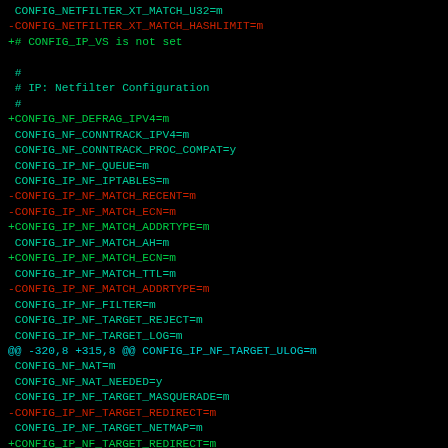diff output showing kernel configuration changes for netfilter/iptables settings
CONFIG_NETFILTER_XT_MATCH_U32=m
-CONFIG_NETFILTER_XT_MATCH_HASHLIMIT=m
+# CONFIG_IP_VS is not set

 #
 # IP: Netfilter Configuration
 #
+CONFIG_NF_DEFRAG_IPV4=m
 CONFIG_NF_CONNTRACK_IPV4=m
 CONFIG_NF_CONNTRACK_PROC_COMPAT=y
 CONFIG_IP_NF_QUEUE=m
 CONFIG_IP_NF_IPTABLES=m
-CONFIG_IP_NF_MATCH_RECENT=m
-CONFIG_IP_NF_MATCH_ECN=m
+CONFIG_IP_NF_MATCH_ADDRTYPE=m
 CONFIG_IP_NF_MATCH_AH=m
+CONFIG_IP_NF_MATCH_ECN=m
 CONFIG_IP_NF_MATCH_TTL=m
-CONFIG_IP_NF_MATCH_ADDRTYPE=m
 CONFIG_IP_NF_FILTER=m
 CONFIG_IP_NF_TARGET_REJECT=m
 CONFIG_IP_NF_TARGET_LOG=m
@@ -320,8 +315,8 @@ CONFIG_IP_NF_TARGET_ULOG=m
 CONFIG_NF_NAT=m
 CONFIG_NF_NAT_NEEDED=y
 CONFIG_IP_NF_TARGET_MASQUERADE=m
-CONFIG_IP_NF_TARGET_REDIRECT=m
 CONFIG_IP_NF_TARGET_NETMAP=m
+CONFIG_IP_NF_TARGET_REDIRECT=m
 CONFIG_NF_NAT_SNMP_BASIC=m